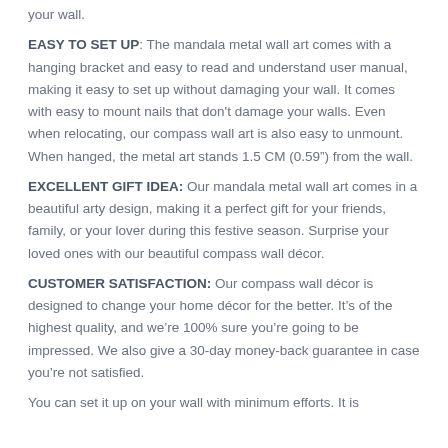your wall.
EASY TO SET UP: The mandala metal wall art comes with a hanging bracket and easy to read and understand user manual, making it easy to set up without damaging your wall. It comes with easy to mount nails that don't damage your walls. Even when relocating, our compass wall art is also easy to unmount. When hanged, the metal art stands 1.5 CM (0.59") from the wall.
EXCELLENT GIFT IDEA: Our mandala metal wall art comes in a beautiful arty design, making it a perfect gift for your friends, family, or your lover during this festive season. Surprise your loved ones with our beautiful compass wall décor.
CUSTOMER SATISFACTION: Our compass wall décor is designed to change your home décor for the better. It's of the highest quality, and we're 100% sure you're going to be impressed. We also give a 30-day money-back guarantee in case you're not satisfied.
You can set it up on your wall with minimum efforts. It is